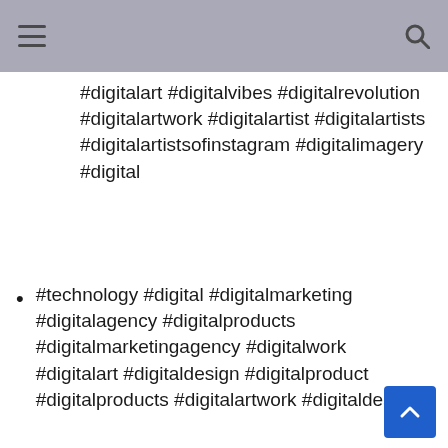#digitalart #digitalvibes #digitalrevolution #digitalartwork #digitalartist #digitalartists #digitalartistsofinstagram #digitalimagery #digital
#technology #digital #digitalmarketing #digitalagency #digitalproducts #digitalmarketingagency #digitalwork #digitalart #digitaldesign #digitalproduct #digitalproducts #digitalartwork #digitaldesigns